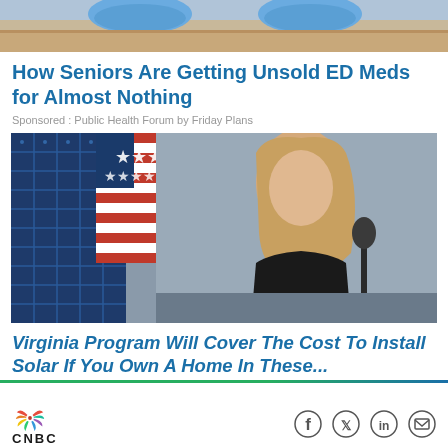[Figure (photo): Top portion of a photo showing blue shoes/feet above a table surface]
How Seniors Are Getting Unsold ED Meds for Almost Nothing
Sponsored : Public Health Forum by Friday Plans
[Figure (photo): Woman with long blonde hair in black top seated at a table with microphone, with a solar panel and American flag in the background]
Virginia Program Will Cover The Cost To Install Solar If You Own A Home In These...
CNBC logo with social media icons: Facebook, Twitter, LinkedIn, Email